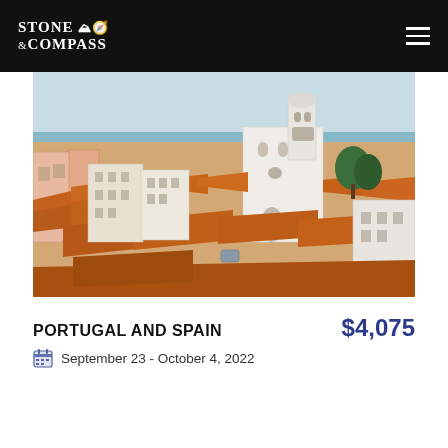Stone & Compass
[Figure (photo): Aerial view of Lisbon, Portugal showing white buildings with orange/terracotta rooftops and a white church tower, with water/harbor visible in the background]
PORTUGAL AND SPAIN
$4,075
September 23 - October 4, 2022